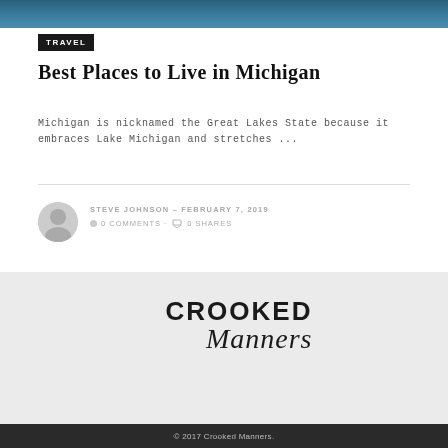[Figure (photo): Header image strip showing a lake or water scene in blue tones]
TRAVEL
Best Places to Live in Michigan
Michigan is nicknamed the Great Lakes State because it embraces Lake Michigan and stretches ...
STEVE JOHNSON – FEBRUARY 7, 2019
● 0 COMMENTS · 🔁 0 SHARES
[Figure (logo): Crooked Manners logo with bold uppercase CROOKED and italic script Manners]
© 2017 Crooked Manners.